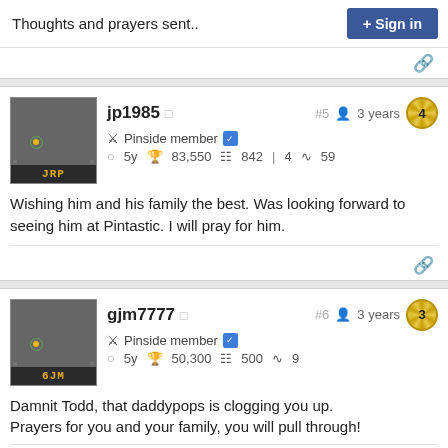Thoughts and prayers sent..
jp1985  #5  3 years  4
Pinside member
5y  83,550  842  4  59
Wishing him and his family the best. Was looking forward to seeing him at Pintastic. I will pray for him.
gjm7777  #6  3 years  3
Pinside member
5y  50,300  500  9
Damnit Todd, that daddypops is clogging you up. Prayers for you and your family, you will pull through!